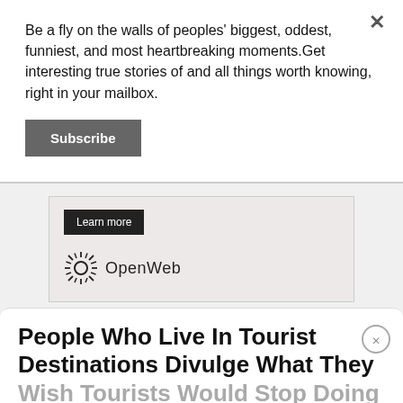Be a fly on the walls of peoples' biggest, oddest, funniest, and most heartbreaking moments.Get interesting true stories of and all things worth knowing, right in your mailbox.
Subscribe
[Figure (screenshot): Advertisement banner with 'Learn more' button and OpenWeb logo on a beige background]
AdChoices  Sponsored
People Who Live In Tourist Destinations Divulge What They Wish Tourists Would Stop Doing
By Thomas Dane